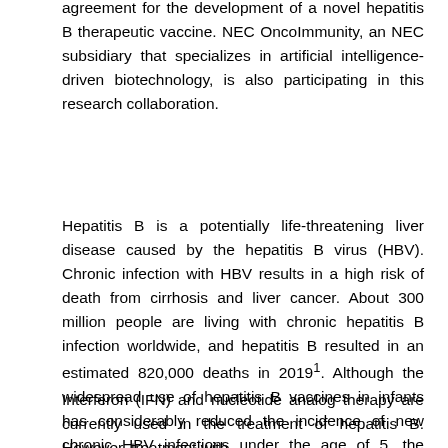agreement for the development of a novel hepatitis B therapeutic vaccine. NEC OncoImmunity, an NEC subsidiary that specializes in artificial intelligence-driven biotechnology, is also participating in this research collaboration.
Hepatitis B is a potentially life-threatening liver disease caused by the hepatitis B virus (HBV). Chronic infection with HBV results in a high risk of death from cirrhosis and liver cancer. About 300 million people are living with chronic hepatitis B infection worldwide, and hepatitis B resulted in an estimated 820,000 deaths in 20191. Although the widespread use of hepatitis B vaccines in infants has considerably reduced the incidence of new chronic HBV infections under the age of 5, the number of new infections by other routes continues to increase2.
Interferon (IFN) and nucleotide analog therapy are currently used in the treatment of hepatitis B. However, treatment with